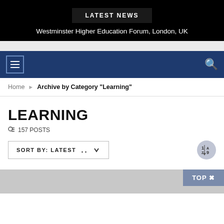LATEST NEWS
Westminster Higher Education Forum, London, UK
Home › Archive by Category "Learning"
LEARNING
157 POSTS
SORT BY: LATEST